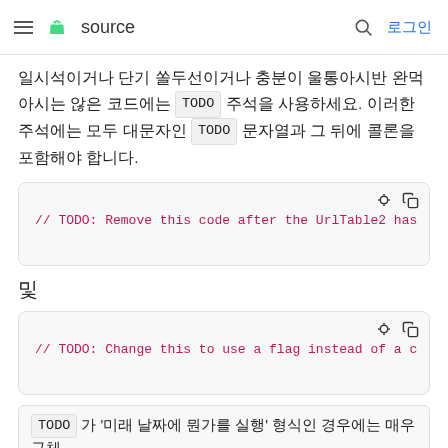≡ [android] source  🔍 로그인
일시적이거나 단기 쏠두선이거나 충분이 울통아시반 완먹아시는 않은 코드에는 TODO 주석을 사용하세요. 이러한 주석에는 모두 대문자인 TODO 문자열과 그 뒤에 콜론을 포함해야 합니다.
[Figure (screenshot): Code block showing: // TODO: Remove this code after the UrlTable2 has]
및
[Figure (screenshot): Code block showing: // TODO: Change this to use a flag instead of a c]
TODO 가 '미래 날짜에 뭔가를 실행' 형식인 경우에는 매우 구체